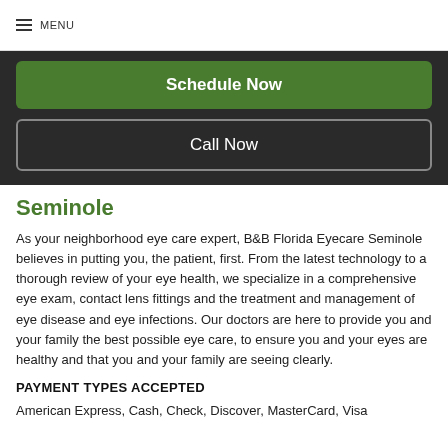MENU
Schedule Now
Call Now
Seminole
As your neighborhood eye care expert, B&B Florida Eyecare Seminole believes in putting you, the patient, first. From the latest technology to a thorough review of your eye health, we specialize in a comprehensive eye exam, contact lens fittings and the treatment and management of eye disease and eye infections. Our doctors are here to provide you and your family the best possible eye care, to ensure you and your eyes are healthy and that you and your family are seeing clearly.
PAYMENT TYPES ACCEPTED
American Express, Cash, Check, Discover, MasterCard, Visa